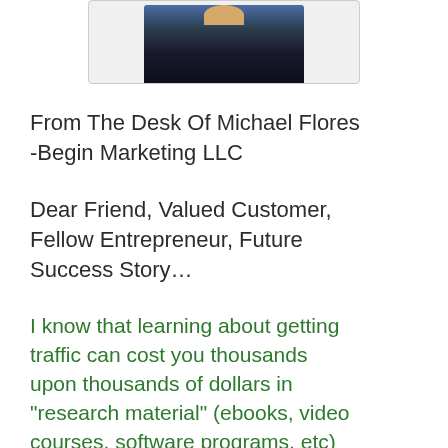[Figure (photo): Partial photo of a person wearing dark clothing, cropped at the top of the page inside a light gray bordered container]
From The Desk Of Michael Flores -Begin Marketing LLC
Dear Friend, Valued Customer, Fellow Entrepreneur, Future Success Story...
I know that learning about getting traffic can cost you thousands upon thousands of dollars in "research material" (ebooks, video courses, software programs, etc) and how much frustration...